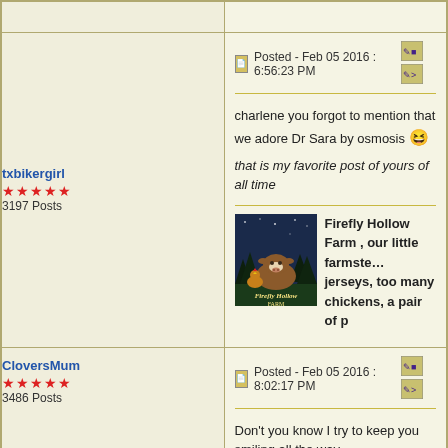| User | Post |
| --- | --- |
| txbikergirl
★★★★★
3197 Posts | Posted - Feb 05 2016 : 6:56:23 PM
charlene you forgot to mention that we adore Dr Sara by osmosis 😆
that is my favorite post of yours of all time
Firefly Hollow Farm , our little farmstead jerseys, too many chickens, a pair of p |
| CloversMum
★★★★★
3486 Posts | Posted - Feb 05 2016 : 8:02:17 PM
Don't you know I try to keep you smiling all the way, |